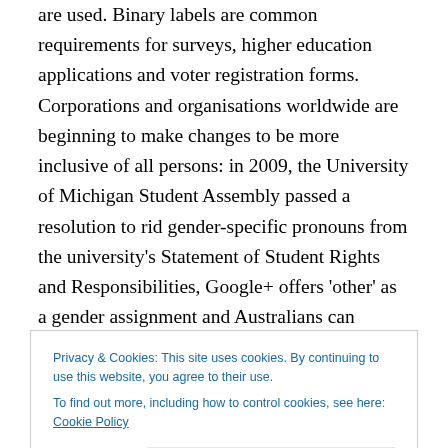are used. Binary labels are common requirements for surveys, higher education applications and voter registration forms. Corporations and organisations worldwide are beginning to make changes to be more inclusive of all persons: in 2009, the University of Michigan Student Assembly passed a resolution to rid gender-specific pronouns from the university's Statement of Student Rights and Responsibilities, Google+ offers 'other' as a gender assignment and Australians can identify as 'indeterminate' on their passports.
Privacy & Cookies: This site uses cookies. By continuing to use this website, you agree to their use. To find out more, including how to control cookies, see here: Cookie Policy
benefits coinciding with the change, there is no reason not